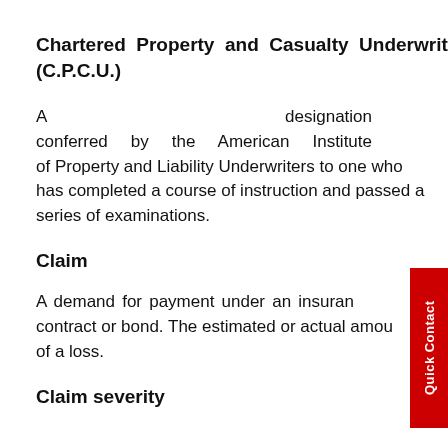Chartered Property and Casualty Underwriter (C.P.C.U.)
A designation conferred by the American Institute of Property and Liability Underwriters to one who has completed a course of instruction and passed a series of examinations.
Claim
A demand for payment under an insurance contract or bond. The estimated or actual amount of a loss.
Claim severity